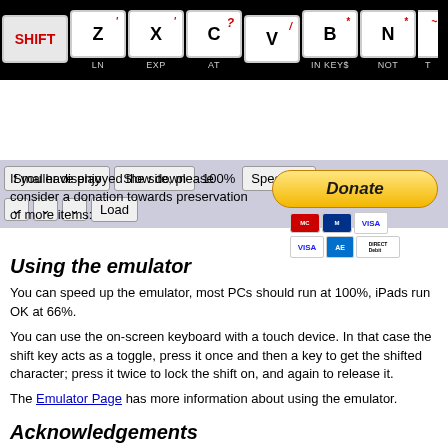[Figure (screenshot): Keyboard emulator strip showing keys: SHIFT, Z (LN), X (EXP), C (AT), V, B (IN KEY$), N (NOT), and partial key T. Black background with white keys.]
[Figure (screenshot): UI controls bar on lavender background: buttons 'Smaller display', 'Slow down', '100%', 'Speed up', and a second row with three dropdown selectors and a 'Load' button.]
If you have enjoyed the site, please consider a donation towards preservation of more items:
[Figure (other): PayPal Donate button with payment method icons: MasterCard, Maestro, VISA, VISA, American Express, Direct Debit.]
Using the emulator
You can speed up the emulator, most PCs should run at 100%, iPads run OK at 66%.
You can use the on-screen keyboard with a touch device. In that case the shift key acts as a toggle, press it once and then a key to get the shifted character; press it twice to lock the shift on, and again to release it.
The Emulator Page has more information about using the emulator.
Acknowledgements
The Javascript version of Jtyone was converted from the original EightyOne emulator which includes code by Mike Wynne and Philip Kendall. The emulator uses adapted versions of js-unzip and js-inflate to access TZX files within ZIP files.